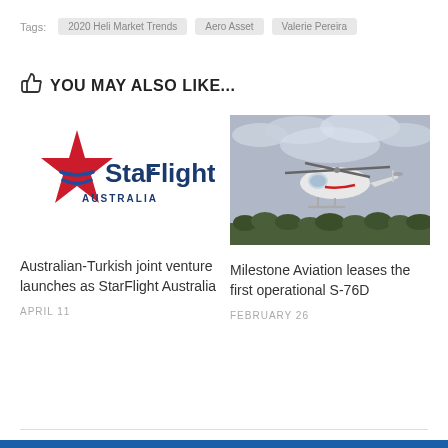Tags:  2020 Heli Market Trends  Aero Asset  Valerie Pereira
YOU MAY ALSO LIKE...
[Figure (logo): StarFlight Australia logo — red star with blue chevron lines, text 'StarFlight AUSTRALIA' in dark blue]
Australian-Turkish joint venture launches as StarFlight Australia
APRIL 11
[Figure (photo): White helicopter (Sikorsky S-76D) in flight against overcast sky with trees in background]
Milestone Aviation leases the first operational S-76D
FEBRUARY 26